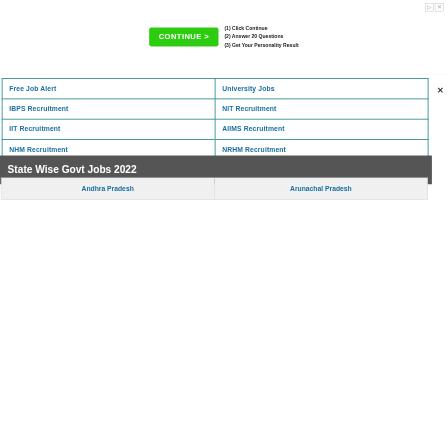[Figure (screenshot): Advertisement banner with green CONTINUE button and steps: (1) Click Continue, (2) Answer 20 Questions, (3) Get Your Personality Result]
| Free Job Alert | University Jobs |
| IBPS Recruitment | NIT Recruitment |
| IIT Recruitment | AIIMS Recruitment |
| NHM Recruitment | NRHM Recruitment |
| Qualification Wise | Designation Wise |
State Wise Govt Jobs 2022
| Andhra Pradesh | Arunachal Pradesh |